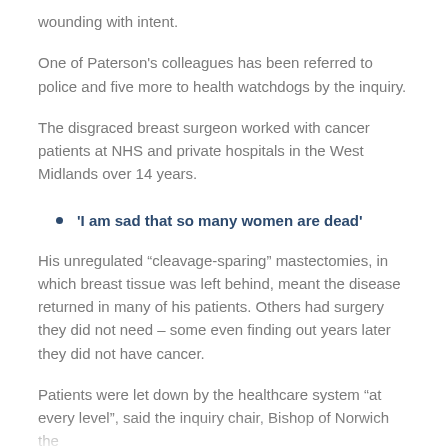wounding with intent.
One of Paterson's colleagues has been referred to police and five more to health watchdogs by the inquiry.
The disgraced breast surgeon worked with cancer patients at NHS and private hospitals in the West Midlands over 14 years.
'I am sad that so many women are dead'
His unregulated “cleavage-sparing” mastectomies, in which breast tissue was left behind, meant the disease returned in many of his patients. Others had surgery they did not need – some even finding out years later they did not have cancer.
Patients were let down by the healthcare system “at every level”, said the inquiry chair, Bishop of Norwich the